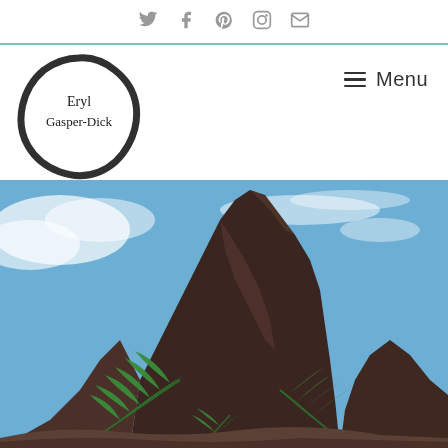Social icons: Twitter, Facebook, Pinterest, Instagram, Email
[Figure (logo): Eryl Gasper-Dick logo — a hand-drawn ink circle (enso) with the name Eryl Gasper-Dick written inside in script font]
≡ Menu
[Figure (photo): Photograph looking up at a large dark rocky outcrop or tor against a blue sky with wispy clouds; green fern fronds visible in the foreground at the base of the rock]